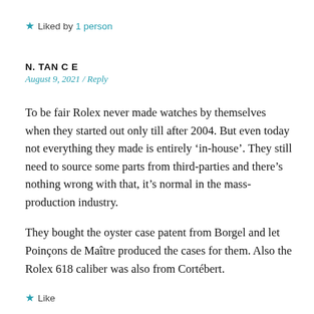★ Liked by 1 person
N. TAN C E
August 9, 2021 / Reply
To be fair Rolex never made watches by themselves when they started out only till after 2004. But even today not everything they made is entirely 'in-house'. They still need to source some parts from third-parties and there's nothing wrong with that, it's normal in the mass-production industry.
They bought the oyster case patent from Borgel and let Poinçons de Maître produced the cases for them. Also the Rolex 618 caliber was also from Cortébert.
★ Like